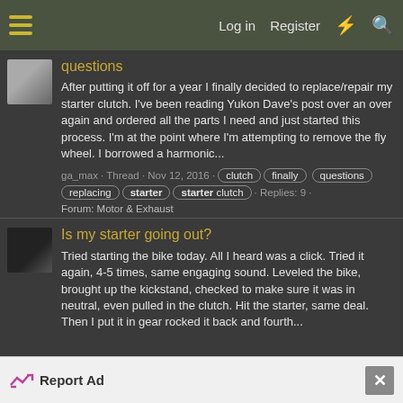Log in  Register
questions
After putting it off for a year I finally decided to replace/repair my starter clutch. I've been reading Yukon Dave's post over an over again and ordered all the parts I need and just started this process. I'm at the point where I'm attempting to remove the fly wheel. I borrowed a harmonic...
ga_max · Thread · Nov 12, 2016 · clutch  finally  questions  replacing  starter  starter clutch · Replies: 9 · Forum: Motor & Exhaust
Is my starter going out?
Tried starting the bike today. All I heard was a click. Tried it again, 4-5 times, same engaging sound. Leveled the bike, brought up the kickstand, checked to make sure it was in neutral, even pulled in the clutch. Hit the starter, same deal. Then I put it in gear rocked it back and fourth...
Report Ad